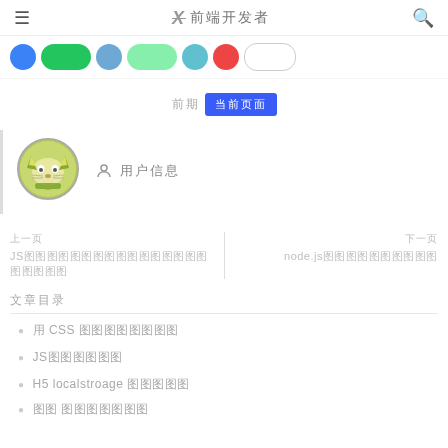≡  ✕ 前端开发者  🔍
[Figure (screenshot): Row of colored icon circles/buttons: blue circle, green rounded, blue-gray circle, light green rounded, light blue circle, red-orange circle, gray rounded (outlined)]
前期  当前页面
[Figure (illustration): User profile avatar: cartoon fox/animal illustration in circular green frame]
👤 用户信息
上一页
JS图图图图图图图图图图图图图图图图图图图图图
下一页
node.js图图图图图图图图图图
文章目录
用 CSS 图图图图图图图图
JS图图图图图图
H5 localstroage 图图图图图
图图 图图图图图图图